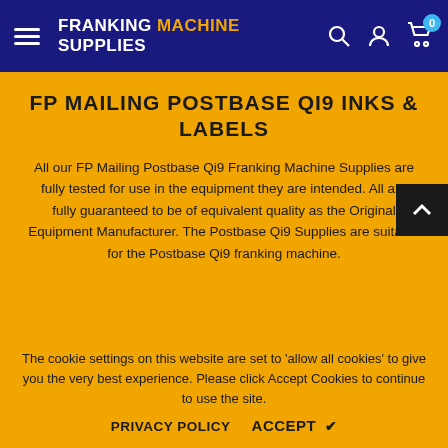FRANKING MACHINE SUPPLIES
FP MAILING POSTBASE QI9 INKS & LABELS
All our FP Mailing Postbase Qi9 Franking Machine Supplies are fully tested for use in the equipment they are intended. All are fully guaranteed to be of equivalent quality as the Original Equipment Manufacturer. The Postbase Qi9 Supplies are suitable for the Postbase Qi9 franking machine.
None of our ink cartridges and labels are manufactured, affiliated or endorsed by the original equipment manufacturer. Mailing Francotyp Postalia.
The cookie settings on this website are set to 'allow all cookies' to give you the very best experience. Please click Accept Cookies to continue to use the site.
PRIVACY POLICY   ACCEPT ✔